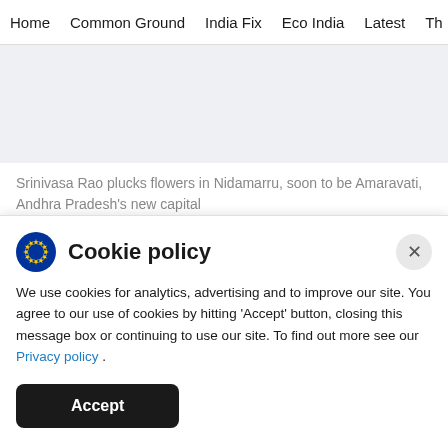Home  Common Ground  India Fix  Eco India  Latest  Th
[Figure (photo): Gray banner placeholder image area]
Srinivasa Rao plucks flowers in Nidamarru, soon to be Amaravati, Andhra Pradesh's new capital
The state government of Andhra Pradesh is
Cookie policy
We use cookies for analytics, advertising and to improve our site. You agree to our use of cookies by hitting 'Accept' button, closing this message box or continuing to use our site. To find out more see our Privacy policy .
Accept